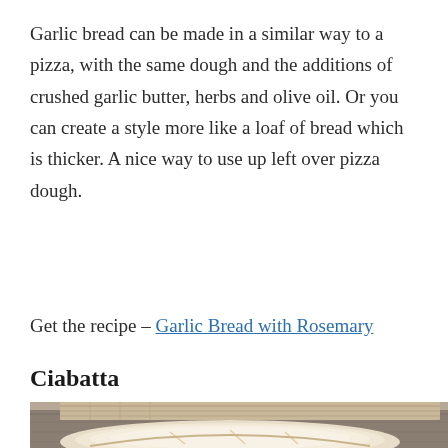Garlic bread can be made in a similar way to a pizza, with the same dough and the additions of crushed garlic butter, herbs and olive oil. Or you can create a style more like a loaf of bread which is thicker. A nice way to use up left over pizza dough.
Get the recipe – Garlic Bread with Rosemary
Ciabatta
[Figure (photo): Photo of ciabatta bread loaves on a wooden surface with burlap fabric in the background]